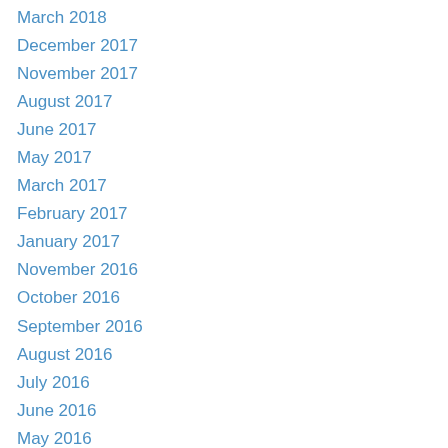March 2018
December 2017
November 2017
August 2017
June 2017
May 2017
March 2017
February 2017
January 2017
November 2016
October 2016
September 2016
August 2016
July 2016
June 2016
May 2016
April 2016
March 2016
February 2016
January 2016